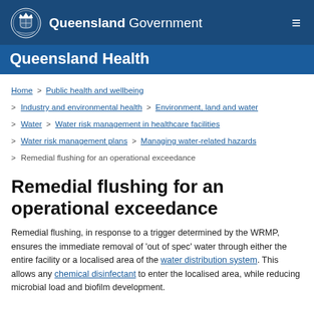[Figure (logo): Queensland Government header banner with crest logo, 'Queensland Government' text in white on dark blue background, and hamburger menu icon]
Queensland Health
Home > Public health and wellbeing
> Industry and environmental health > Environment, land and water
> Water > Water risk management in healthcare facilities
> Water risk management plans > Managing water-related hazards
> Remedial flushing for an operational exceedance
Remedial flushing for an operational exceedance
Remedial flushing, in response to a trigger determined by the WRMP, ensures the immediate removal of 'out of spec' water through either the entire facility or a localised area of the water distribution system. This allows any chemical disinfectant to enter the localised area, while reducing microbial load and biofilm development.